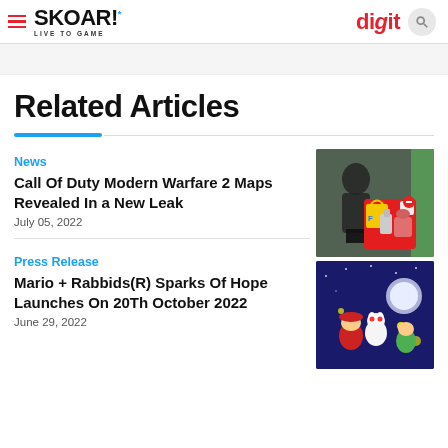SKOAR! LIVE TO GAME | digit
Related Articles
News
Call Of Duty Modern Warfare 2 Maps Revealed In a New Leak
July 05, 2022
[Figure (photo): Call of Duty game cover image and product box]
Press Release
Mario + Rabbids(R) Sparks Of Hope Launches On 20Th October 2022
June 29, 2022
[Figure (photo): Mario + Rabbids Sparks of Hope game artwork]